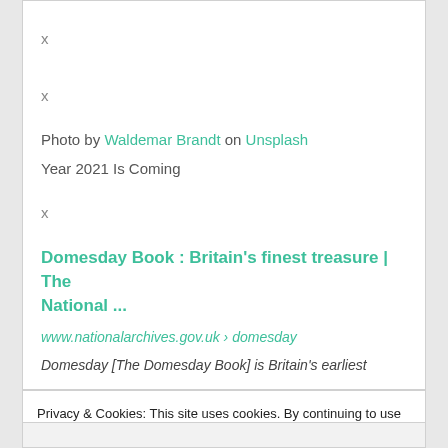x
x
Photo by Waldemar Brandt on Unsplash
Year 2021 Is Coming
x
Domesday Book : Britain's finest treasure | The National ...
www.nationalarchives.gov.uk › domesday
Domesday [The Domesday Book] is Britain's earliest
Privacy & Cookies: This site uses cookies. By continuing to use this website, you agree to their use.
To find out more, including how to control cookies, see here: Cookie Policy
Close and accept